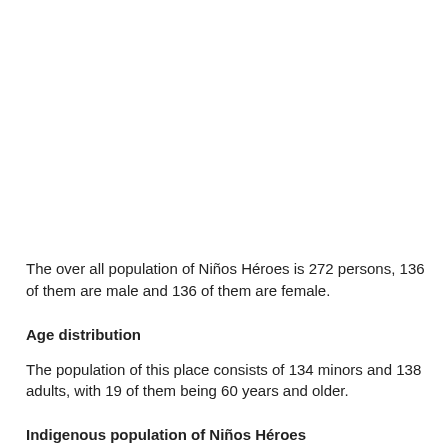The over all population of Niños Héroes is 272 persons, 136 of them are male and 136 of them are female.
Age distribution
The population of this place consists of 134 minors and 138 adults, with 19 of them being 60 years and older.
Indigenous population of Niños Héroes
108 inhabitants of the location Niños Héroes in Mexico live in